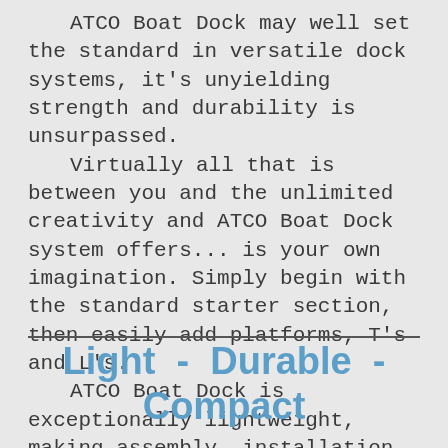ATCO Boat Dock may well set the standard in versatile dock systems, it's unyielding strength and durability is unsurpassed. Virtually all that is between you and the unlimited creativity and ATCO Boat Dock system offers... is your own imagination. Simply begin with the standard starter section, then easily add platforms, T's and L's. ATCO Boat Dock is exceptionally lightweight, making assembly, installation, and even removal a snap. It Stores away quite compactly.
Light  -  Durable  -  Compact